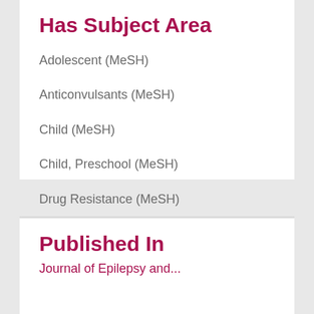Has Subject Area
Adolescent (MeSH)
Anticonvulsants (MeSH)
Child (MeSH)
Child, Preschool (MeSH)
Drug Resistance (MeSH)
MORE
Published In
Journal of Epilepsy and...